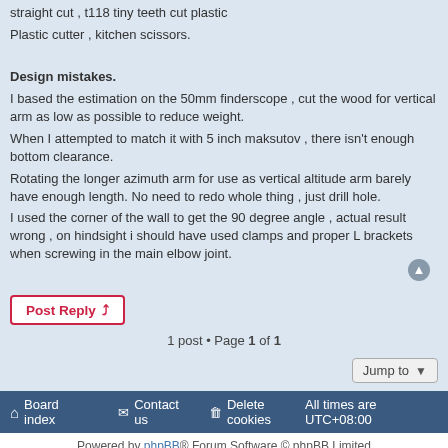straight cut , t118 tiny teeth cut plastic
Plastic cutter , kitchen scissors.
Design mistakes.
I based the estimation on the 50mm finderscope , cut the wood for vertical arm as low as possible to reduce weight.
When I attempted to match it with 5 inch maksutov , there isn't enough bottom clearance.
Rotating the longer azimuth arm for use as vertical altitude arm barely have enough length. No need to redo whole thing , just drill hole.
I used the corner of the wall to get the 90 degree angle , actual result wrong , on hindsight i should have used clamps and proper L brackets when screwing in the main elbow joint.
Post Reply
1 post • Page 1 of 1
Jump to
Board index   Contact us   Delete cookies   All times are UTC+08:00
Powered by phpBB® Forum Software © phpBB Limited
Privacy | Terms